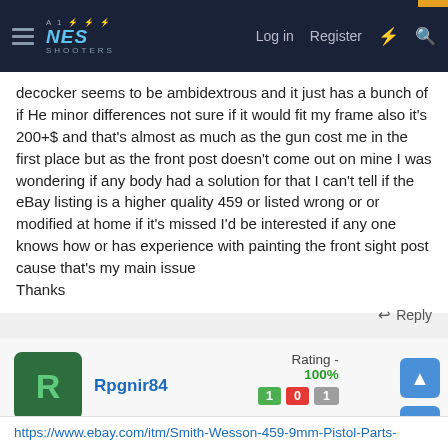NES SHOOTERS — Log in | Register
decocker seems to be ambidextrous and it just has a bunch of if He minor differences not sure if it would fit my frame also it's 200+$ and that's almost as much as the gun cost me in the first place but as the front post doesn't come out on mine I was wondering if any body had a solution for that I can't tell if the eBay listing is a higher quality 459 or listed wrong or or modified at home if it's missed I'd be interested if any one knows how or has experience with painting the front sight post cause that's my main issue
Thanks
↩ Reply
Rpgnir84
Rating - 100%
Nov 25, 2021
https://www.ebay.com/itm/Smith-Wesson-459-9mm-Pistol-Parts-